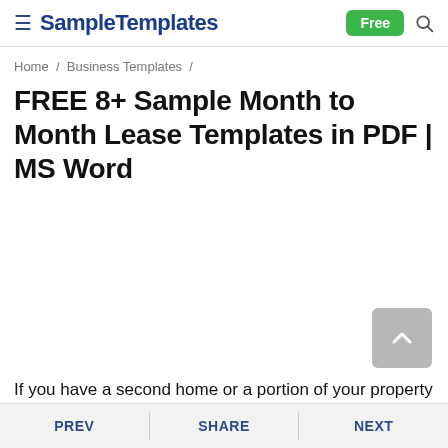SampleTemplates | Free | Search
Home / Business Templates /
FREE 8+ Sample Month to Month Lease Templates in PDF | MS Word
If you have a second home or a portion of your property
PREV | SHARE | NEXT